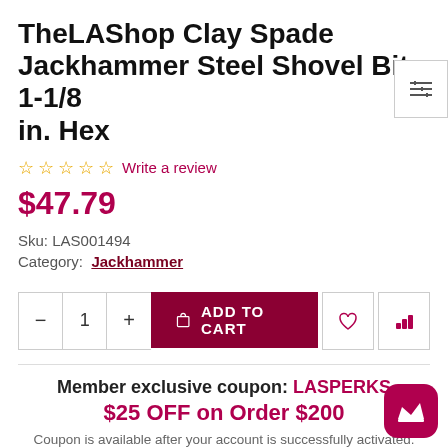TheLAShop Clay Spade Jackhammer Steel Shovel Bit 1-1/8 in. Hex
☆☆☆☆☆ Write a review
$47.79
Sku: LAS001494
Category: Jackhammer
- 1 + ADD TO CART
Member exclusive coupon: LASPERKS $25 OFF on Order $200
Coupon is available after your account is successfully activated.
• Free Delivery within 3-5 business days.
• Payment Cleared before 12pm PST will be shipped out in the same